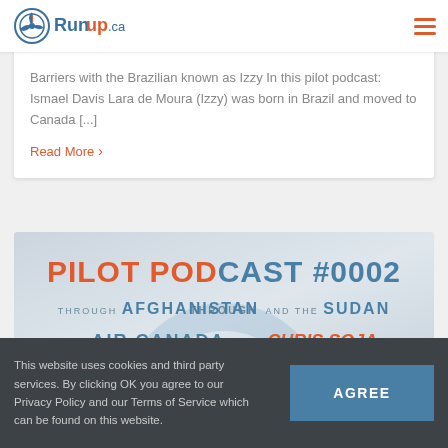Runup.ca
Barriers with the Brazilian known as Izzy In this pilot podcast: Ismael Davis Lara de Moura (Izzy) was born in Brazil and moved to Canada [...]
Read More ›
[Figure (infographic): Pilot Podcast #0002 banner: Through Afghanistan and the Sudan to Air Canada with Chris Soja]
This website uses cookies and third party services. By clicking OK you agree to our Privacy Policy and our Terms of Service which can be found on this website.